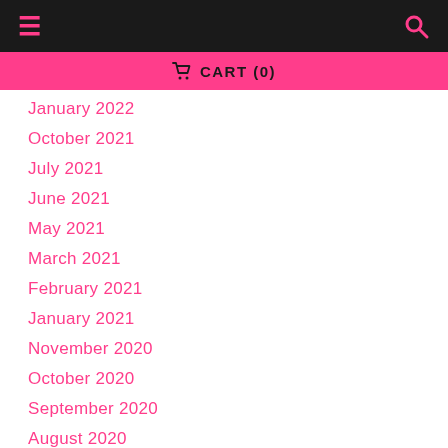≡  🔍
🛒 CART (0)
January 2022
October 2021
July 2021
June 2021
May 2021
March 2021
February 2021
January 2021
November 2020
October 2020
September 2020
August 2020
July 2020
June 2020
May 2020